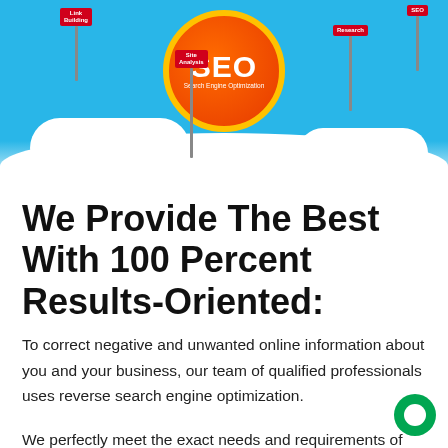[Figure (infographic): SEO infographic showing a sky-blue background with clouds, a large orange circular SEO badge in the center, and red/orange flags labeled 'Link Building', 'Site Analysis', 'Research', and 'SEO']
We Provide The Best With 100 Percent Results-Oriented:
To correct negative and unwanted online information about you and your business, our team of qualified professionals uses reverse search engine optimization.
We perfectly meet the exact needs and requirements of customers and guarantee online